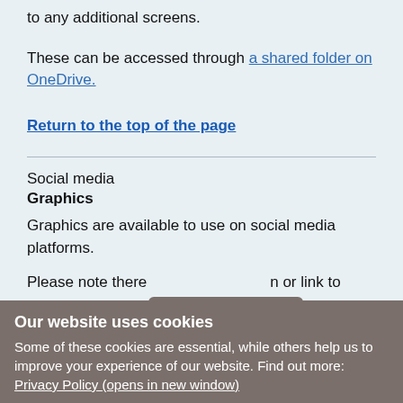to any additional screens.
These can be accessed through a shared folder on OneDrive.
Return to the top of the page
Social media
Graphics
Graphics are available to use on social media platforms.
Please note there [Cookie settings] n or link to
Our website uses cookies
Some of these cookies are essential, while others help us to improve your experience of our website. Find out more:
Privacy Policy (opens in new window)